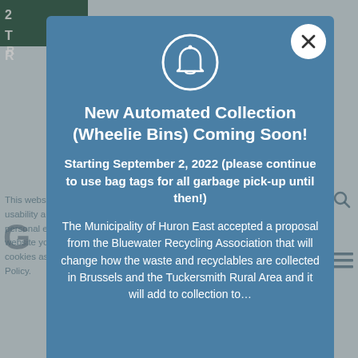[Figure (screenshot): Website background showing top navigation bar with dark green color, partial text fragments, cookie consent notice, and navigation elements — visible behind the modal popup.]
New Automated Collection (Wheelie Bins) Coming Soon!
Starting September 2, 2022 (please continue to use bag tags for all garbage pick-up until then!)
The Municipality of Huron East accepted a proposal from the Bluewater Recycling Association that will change how the waste and recyclables are collected in Brussels and the Tuckersmith Rural Area and it will add to collection to …